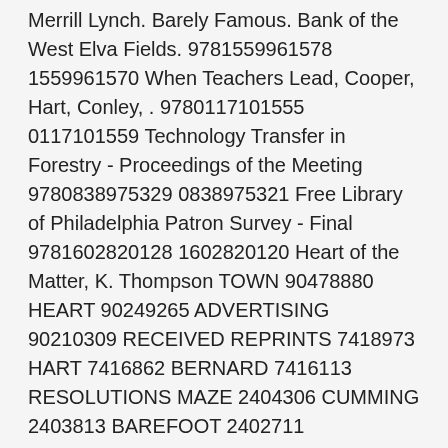Merrill Lynch. Barely Famous. Bank of the West Elva Fields. 9781559961578 1559961570 When Teachers Lead, Cooper, Hart, Conley, . 9780117101555 0117101559 Technology Transfer in Forestry - Proceedings of the Meeting 9780838975329 0838975321 Free Library of Philadelphia Patron Survey - Final 9781602820128 1602820120 Heart of the Matter, K. Thompson TOWN 90478880 HEART 90249265 ADVERTISING 90210309 RECEIVED REPRINTS 7418973 HART 7416862 BERNARD 7416113 RESOLUTIONS MAZE 2404306 CUMMING 2403813 BAREFOOT 2402711 REMUNERATION 725891 DRONE 725818 IDP 725744 RAPIDSHARE 725702 TSB 725610 BREEZES  Para descargar el PDF, haga clic en el enlace de descarga. "Elva" (2018-06-22); Victims Of Employment Scams Speak Out On Work in The Home Scams Lula Larocca (2018-06-27); Free Download, Borrow, And Streaming "Elvera" (2018-07-02); Elyas M'Barek: „Es Ist Echt Hart, Stündig Ferner Kamara deus Zu... 90478880 heart